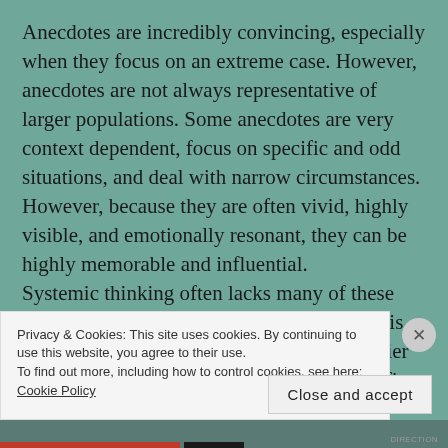Anecdotes are incredibly convincing, especially when they focus on an extreme case. However, anecdotes are not always representative of larger populations. Some anecdotes are very context dependent, focus on specific and odd situations, and deal with narrow circumstances. However, because they are often vivid, highly visible, and emotionally resonant, they can be highly memorable and influential.
Systemic thinking often lacks many of these qualities. Often, the general reference class is hard to see or make sense of. It is much easier to remember a commute that featured an officer or traffic accident than the vast majority of commutes that were uneventful. Sometimes
Privacy & Cookies: This site uses cookies. By continuing to use this website, you agree to their use.
To find out more, including how to control cookies, see here: Cookie Policy
Close and accept